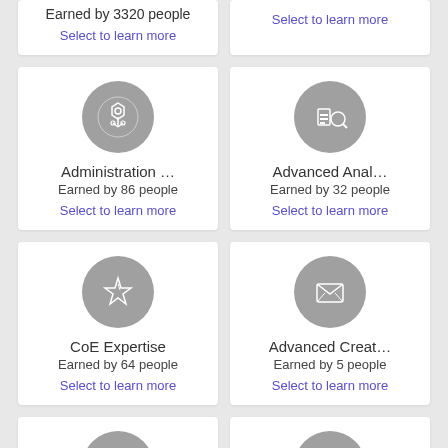Earned by 3320 people
Select to learn more
Select to learn more
[Figure (illustration): Badge icon for Administration with hexagonal/gear pattern on gray circle]
Administration …
Earned by 86 people
Select to learn more
[Figure (illustration): Badge icon for Advanced Analytics with data/chart icon on gray circle]
Advanced Anal…
Earned by 32 people
Select to learn more
[Figure (illustration): Badge icon for CoE Expertise with star icon on gray circle]
CoE Expertise
Earned by 64 people
Select to learn more
[Figure (illustration): Badge icon for Advanced Creative with envelope/mail icon on gray circle]
Advanced Creat…
Earned by 5 people
Select to learn more
[Figure (illustration): Badge icon for Custom Integration with network/nodes icon on gray circle]
Custom Integrat…
Earned by 35 people
[Figure (illustration): Badge icon for Digital Ad Experience with screen/display icon on gray circle]
Digital Ad Expe…
Earned by 4 people